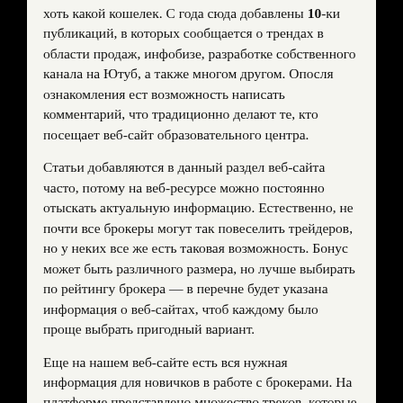хоть какой кошелек. С года сюда добавлены 10-ки публикаций, в которых сообщается о трендах в области продаж, инфобизе, разработке собственного канала на Ютуб, а также многом другом. Опосля ознакомления ест возможность написать комментарий, что традиционно делают те, кто посещает веб-сайт образовательного центра.
Статьи добавляются в данный раздел веб-сайта часто, потому на веб-ресурсе можно постоянно отыскать актуальную информацию. Естественно, не почти все брокеры могут так повеселить трейдеров, но у неких все же есть таковая возможность. Бонус может быть различного размера, но лучше выбирать по рейтингу брокера — в перечне будет указана информация о веб-сайтах, чтоб каждому было проще выбрать пригодный вариант.
Еще на нашем веб-сайте есть вся нужная информация для новичков в работе с брокерами. На платформе представлено множество треков, которые не защищены авторским правом и распространяются по вольной лицензии. Заблокирован контент не будет. Это комфортно как для начинающих, так и для проф